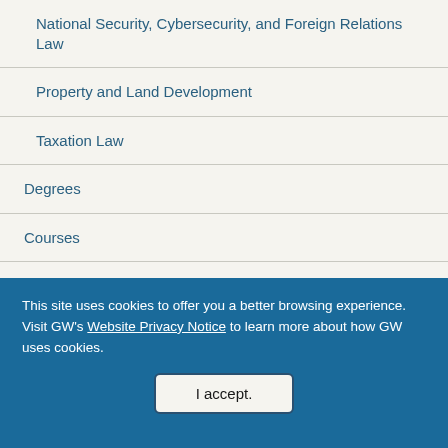National Security, Cybersecurity, and Foreign Relations Law
Property and Land Development
Taxation Law
Degrees
Courses
Clinics
This site uses cookies to offer you a better browsing experience. Visit GW's Website Privacy Notice to learn more about how GW uses cookies.
I accept.